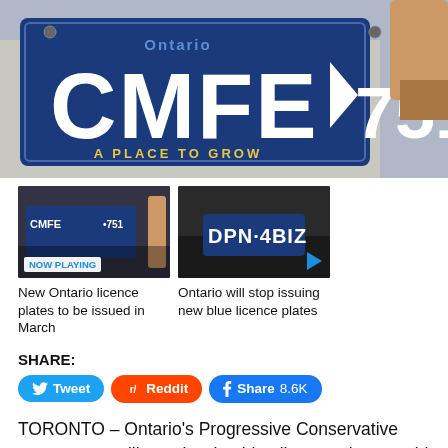[Figure (photo): Close-up photo of a blue Ontario licence plate reading CMFE 751 with 'A Place to Grow' tagline, being scanned by a device]
[Figure (photo): Thumbnail: Blue Ontario licence plate CMFE 751 with NOW PLAYING badge]
New Ontario licence plates to be issued in March
[Figure (photo): Thumbnail: Blue Ontario licence plate DPN 4BIZ on a car with play button]
Ontario will stop issuing new blue licence plates
SHARE:
Tweet | Reddit | Share 8.6K
TORONTO – Ontario's Progressive Conservative government will stop issuing blue licence plates amid